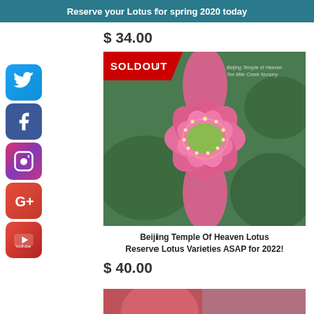Reserve your Lotus for spring 2020 today
$ 34.00
[Figure (photo): Pink lotus flower (Beijing Temple of Heaven Lotus) with SOLDOUT badge overlay on red background. Flower has pink petals and yellow-green center with white stamens, surrounded by green lily pads.]
Beijing Temple Of Heaven Lotus
Reserve Lotus Varieties ASAP for 2022!
$ 40.00
[Figure (photo): Partial view of another lotus flower product at the bottom of the page.]